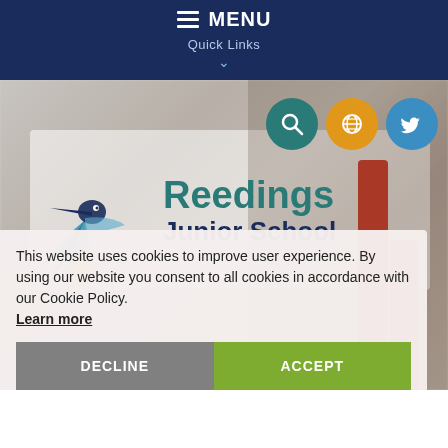MENU
Quick Links
[Figure (logo): Reedings Junior School logo with kingfisher bird illustration]
Reedings Junior School
This website uses cookies to improve user experience. By using our website you consent to all cookies in accordance with our Cookie Policy. Learn more
DECLINE
ACCEPT